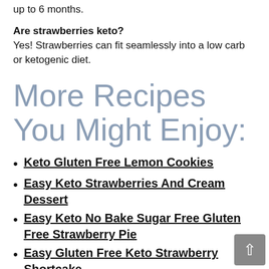up to 6 months.
Are strawberries keto? Yes! Strawberries can fit seamlessly into a low carb or ketogenic diet.
More Recipes You Might Enjoy:
Keto Gluten Free Lemon Cookies
Easy Keto Strawberries And Cream Dessert
Easy Keto No Bake Sugar Free Gluten Free Strawberry Pie
Easy Gluten Free Keto Strawberry Shortcake
Easy Sugar Free Keto Homemade